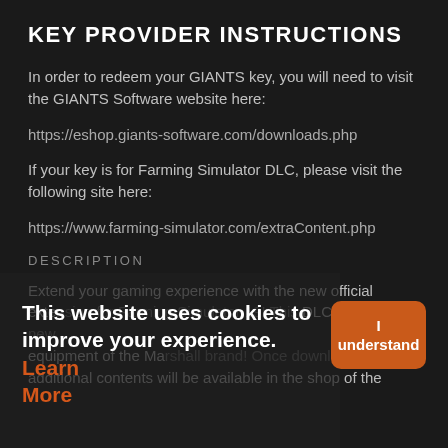KEY PROVIDER INSTRUCTIONS
In order to redeem your GIANTS key, you will need to visit the GIANTS Software website here:
https://eshop.giants-software.com/downloads.php
If your key is for Farming Simulator DLC, please visit the following site here:
https://www.farming-simulator.com/extraContent.php
DESCRIPTION
Extend your gaming experience with the new official extension for Farming Simulator 19! This DLC contains new equipment of the Marshall brand! Once downloaded, the additional contents will be available in the shop of the
This website uses cookies to improve your experience. Learn More
I understand